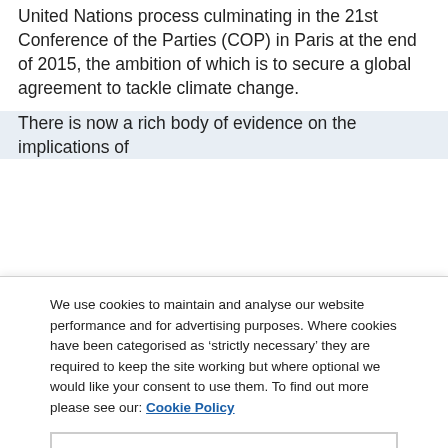United Nations process culminating in the 21st Conference of the Parties (COP) in Paris at the end of 2015, the ambition of which is to secure a global agreement to tackle climate change.
There is now a rich body of evidence on the implications of
We use cookies to maintain and analyse our website performance and for advertising purposes. Where cookies have been categorised as 'strictly necessary' they are required to keep the site working but where optional we would like your consent to use them. To find out more please see our: Cookie Policy
Cookies Settings
Reject All
Accept All Cookies